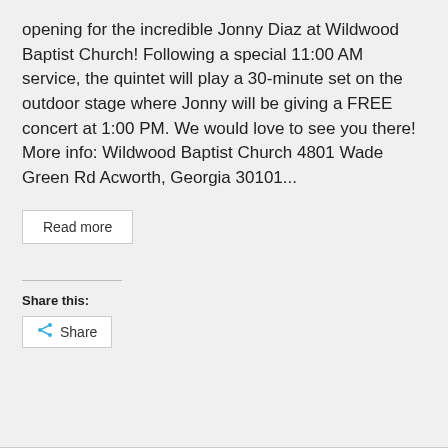opening for the incredible Jonny Diaz at Wildwood Baptist Church! Following a special 11:00 AM service, the quintet will play a 30-minute set on the outdoor stage where Jonny will be giving a FREE concert at 1:00 PM. We would love to see you there! More info: Wildwood Baptist Church 4801 Wade Green Rd Acworth, Georgia 30101...
Read more
Share this:
Share